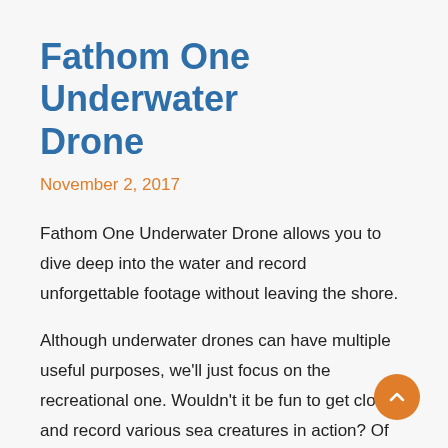Fathom One Underwater Drone
November 2, 2017
Fathom One Underwater Drone allows you to dive deep into the water and record unforgettable footage without leaving the shore.
Although underwater drones can have multiple useful purposes, we'll just focus on the recreational one. Wouldn't it be fun to get close and record various sea creatures in action? Of course, it would! Fathom One can go as deep as 150 feet and live stream its journey